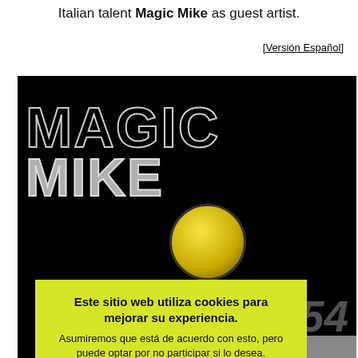Italian talent Magic Mike as guest artist.
[Versión Español]
[Figure (photo): Dark background image with large outlined text reading MAGIC MIKE and a basketball, with VALENTRONIC.NET text at the bottom and number 054]
Este sitio web utiliza cookies para mejorar su experiencia. Asumiremos que está de acuerdo con esto, pero puede optar por no participar si lo desea. Acepto  Leer más